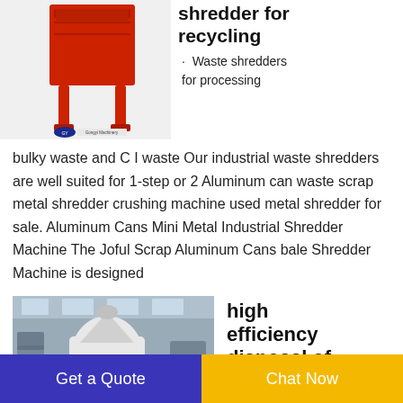[Figure (photo): Red industrial metal shredder machine with Chinese brand logo (Gongyi) visible at bottom]
shredder for recycling
· Waste shredders for processing
bulky waste and C I waste Our industrial waste shredders are well suited for 1-step or 2 Aluminum can waste scrap metal shredder crushing machine used metal shredder for sale. Aluminum Cans Mini Metal Industrial Shredder Machine The Joful Scrap Aluminum Cans bale Shredder Machine is designed
[Figure (photo): Industrial waste tire disposal machine (white air separator equipment) in a factory setting]
high efficiency disposal of waste tires for
Get a Quote
Chat Now